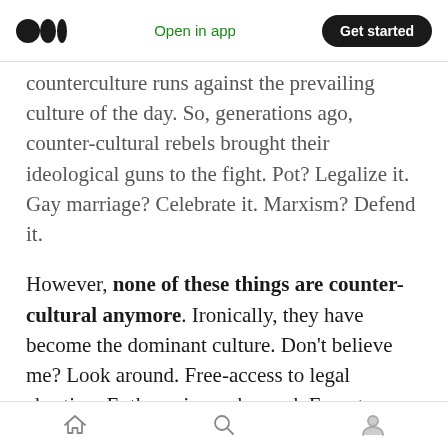Medium logo | Open in app | Get started
counterculture runs against the prevailing culture of the day. So, generations ago, counter-cultural rebels brought their ideological guns to the fight. Pot? Legalize it. Gay marriage? Celebrate it. Marxism? Defend it.
However, none of these things are counter-cultural anymore. Ironically, they have become the dominant culture. Don’t believe me? Look around. Free-access to legal abortion. Euthanasia on-demand. Forget cloning sheep, which gave us Dolly in 1996— Barbara Streisand has cloned her dog (twice!) Marxism has found
home | search | profile